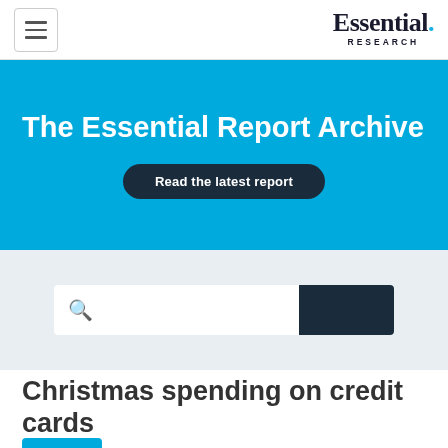Essential. RESEARCH
The Essential Report Archive
Read the latest report
[Figure (screenshot): Search input box with dark navy search button]
Christmas spending on credit cards